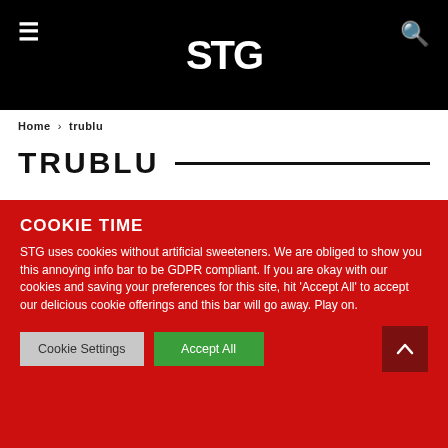STG
Home › trublu
TRUBLU
COOKIE TIME
STG uses cookies without artificial sweeteners. We are obliged to show you this annoying info bar to be GDPR compliant. If you are okay with our cookies and saving your preferences for this site, hit 'Accept All' to accept our delicious cookie offerings and this bar will go away. Play on.
Cookie Settings   Accept All